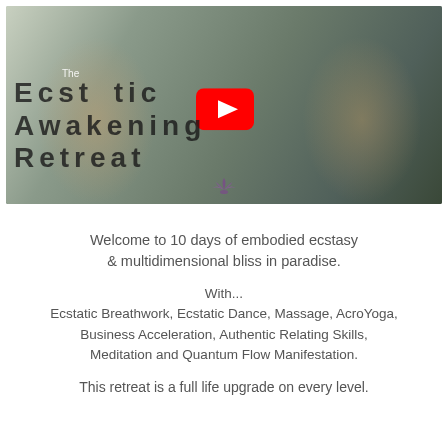[Figure (screenshot): YouTube video thumbnail for 'Bucket list for this lifetime - The Ecs...' showing two people embracing with large overlaid text reading 'The Ecstatic Awakening Retreat' and a red YouTube play button in the center.]
Welcome to 10 days of embodied ecstasy & multidimensional bliss in paradise.
With... Ecstatic Breathwork, Ecstatic Dance, Massage, AcroYoga, Business Acceleration, Authentic Relating Skills, Meditation and Quantum Flow Manifestation.
This retreat is a full life upgrade on every level.